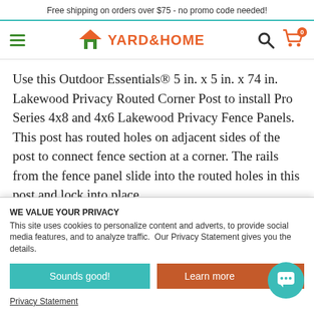Free shipping on orders over $75 - no promo code needed!
[Figure (logo): Yard&Home logo with hamburger menu, search icon, and cart icon showing 0 items]
Use this Outdoor Essentials® 5 in. x 5 in. x 74 in. Lakewood Privacy Routed Corner Post to install Pro Series 4x8 and 4x6 Lakewood Privacy Fence Panels. This post has routed holes on adjacent sides of the post to connect fence section at a corner. The rails from the fence panel slide into the routed holes in this post and lock into place
WE VALUE YOUR PRIVACY
This site uses cookies to personalize content and adverts, to provide social media features, and to analyze traffic.  Our Privacy Statement gives you the details.
Sounds good!
Learn more
Privacy Statement